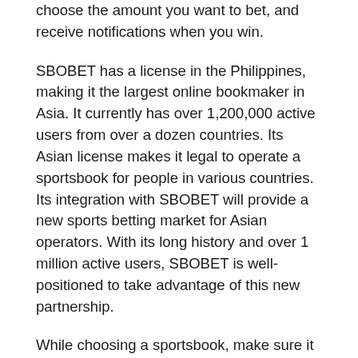choose the amount you want to bet, and receive notifications when you win.
SBOBET has a license in the Philippines, making it the largest online bookmaker in Asia. It currently has over 1,200,000 active users from over a dozen countries. Its Asian license makes it legal to operate a sportsbook for people in various countries. Its integration with SBOBET will provide a new sports betting market for Asian operators. With its long history and over 1 million active users, SBOBET is well-positioned to take advantage of this new partnership.
While choosing a sportsbook, make sure it is legal in your country and abides by government regulations. Always read and understand their terms of service before placing a bet. Choose one that offers a high payout limit, accepts your preferred payment methods, and has an easy-to-navigate layout. Finally, look for a sportsbook that offers excellent customer